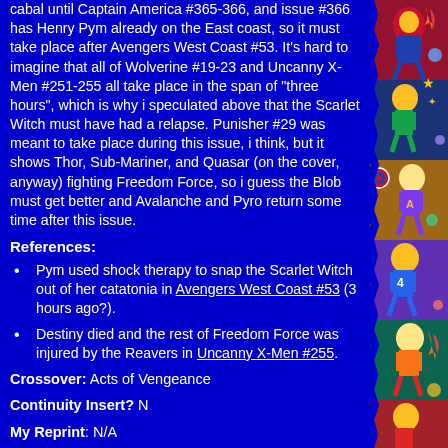cabal until Captain America #365-366, and issue #366 has Henry Pym already on the East coast, so it must take place after Avengers West Coast #53. It's hard to imagine that all of Wolverine #19-23 and Uncanny X-Men #251-255 all take place in the span of "three hours", which is why i speculated above that the Scarlet Witch must have had a relapse. Punisher #29 was meant to take place during this issue, i think, but it shows Thor, Sub-Mariner, and Quasar (on the cover, anyway) fighting Freedom Force, so i guess the Blob must get better and Avalanche and Pyro return some time after this issue.
References:
Pym used shock therapy to snap the Scarlet Witch out of her catatonia in Avengers West Coast #53 (3 hours ago?).
Destiny died and the rest of Freedom Force was injured by the Reavers in Uncanny X-Men #255.
Crossover: Acts of Vengeance
Continuity Insert? N
My Reprint: N/A
Inbound References (6): show
Characters Appearing: Avalanche, Blob, Captain America, Dr. Doom, Falcon, Henry Pym, Kingpin, Loki, Magneto, Mandarin, Nebula, Professor Harker, Pyro, Red